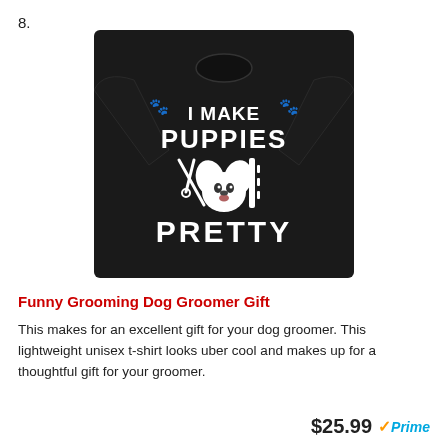8.
[Figure (photo): Black long-sleeve t-shirt with white text reading 'I MAKE PUPPIES PRETTY' and a dog grooming graphic (scissors, comb, and fluffy dog face) with paw print decorations]
Funny Grooming Dog Groomer Gift
This makes for an excellent gift for your dog groomer. This lightweight unisex t-shirt looks uber cool and makes up for a thoughtful gift for your groomer.
$25.99 Prime